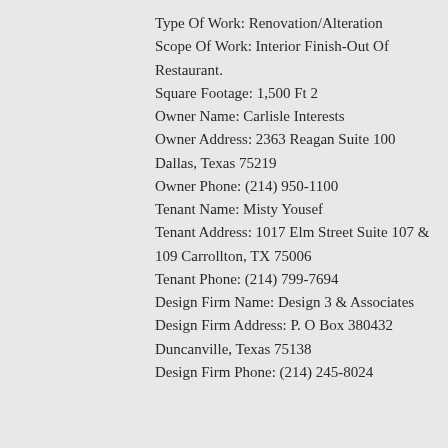Type Of Work: Renovation/Alteration Scope Of Work: Interior Finish-Out Of Restaurant. Square Footage: 1,500 Ft 2 Owner Name: Carlisle Interests Owner Address: 2363 Reagan Suite 100 Dallas, Texas 75219 Owner Phone: (214) 950-1100 Tenant Name: Misty Yousef Tenant Address: 1017 Elm Street Suite 107 & 109 Carrollton, TX 75006 Tenant Phone: (214) 799-7694 Design Firm Name: Design 3 & Associates Design Firm Address: P. O Box 380432 Duncanville, Texas 75138 Design Firm Phone: (214) 245-8024